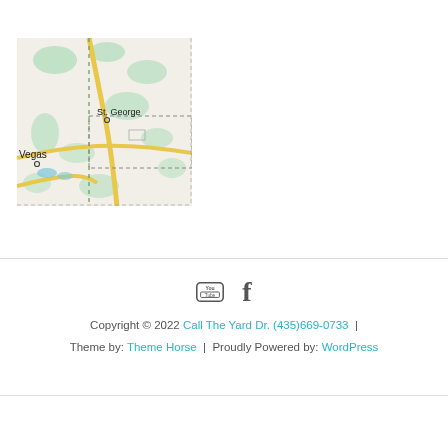[Figure (map): Road map showing St. George, Utah area with Las Vegas visible at lower left. Map shows roads, green terrain areas, and a dashed rectangle highlighting the St. George region.]
Copyright © 2022 Call The Yard Dr. (435)669-0733 | Theme by: Theme Horse | Proudly Powered by: WordPress